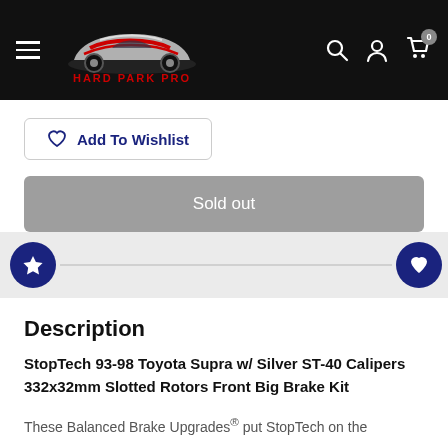[Figure (logo): Hard Park Pro logo with race car graphic and red/white/black design on dark background header navigation bar]
Add To Wishlist
Sold out
Description
StopTech 93-98 Toyota Supra w/ Silver ST-40 Calipers 332x32mm Slotted Rotors Front Big Brake Kit
These Balanced Brake Upgrades® put StopTech on the